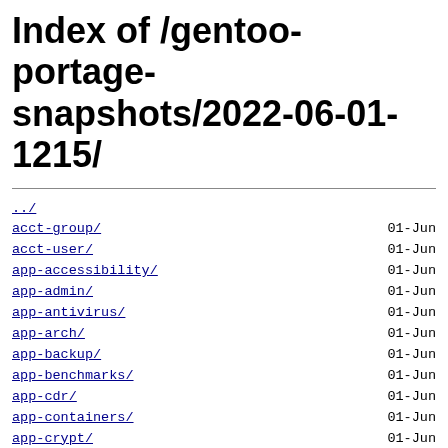Index of /gentoo-portage-snapshots/2022-06-01-1215/
../
acct-group/   01-Jun
acct-user/   01-Jun
app-accessibility/   01-Jun
app-admin/   01-Jun
app-antivirus/   01-Jun
app-arch/   01-Jun
app-backup/   01-Jun
app-benchmarks/   01-Jun
app-cdr/   01-Jun
app-containers/   01-Jun
app-crypt/   01-Jun
app-dicts/   01-Jun
app-doc/   01-Jun
app-editors/   01-Jun
app-emacs/   01-Jun
app-emulation/   01-Jun
app-eselect/   01-Jun
app-forensics/   01-Jun
app-i18n/   01-Jun
app-laptop/   01-Jun
app-metrics/   01-Jun